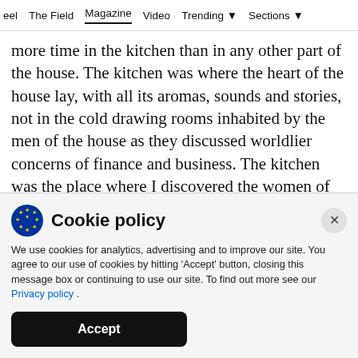eel   The Field   Magazine   Video   Trending   Sections
more time in the kitchen than in any other part of the house. The kitchen was where the heart of the house lay, with all its aromas, sounds and stories, not in the cold drawing rooms inhabited by the men of the house as they discussed worldlier concerns of finance and business. The kitchen was the place where I discovered the women of my house in their vibrant hues – full of agency, opinionated and
Cookie policy
We use cookies for analytics, advertising and to improve our site. You agree to our use of cookies by hitting 'Accept' button, closing this message box or continuing to use our site. To find out more see our Privacy policy .
Accept